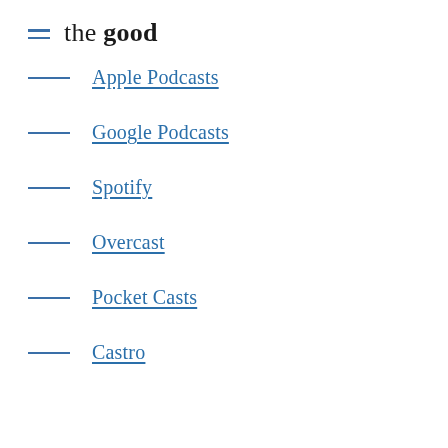the good
Apple Podcasts
Google Podcasts
Spotify
Overcast
Pocket Casts
Castro